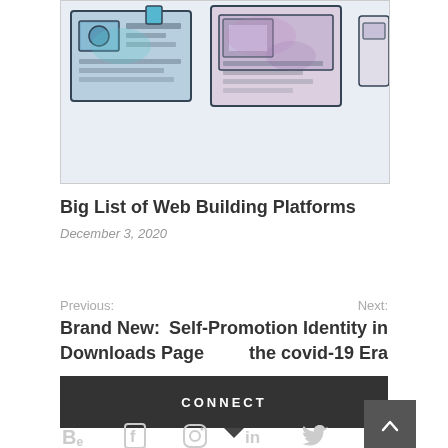[Figure (illustration): Watercolor and ink sketch of web/UI wireframes or building platform mockups, showing hand-drawn interface cards with blue and purple tones on a light background]
Big List of Web Building Platforms
December 3, 2020
Previous: Brand New: Downloads Page
Next: Self-Promotion Identity in the covid-19 Era
CONNECT
[Figure (other): Social media icons: Behance, Facebook, Instagram, LinkedIn, Twitter]